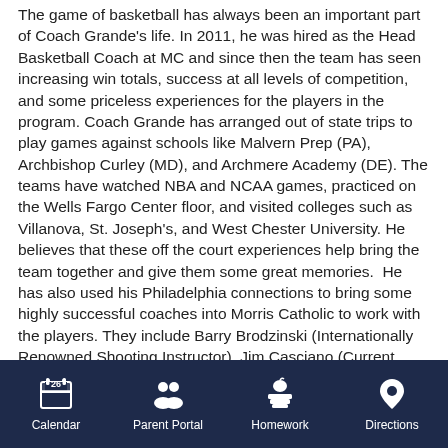The game of basketball has always been an important part of Coach Grande's life. In 2011, he was hired as the Head Basketball Coach at MC and since then the team has seen increasing win totals, success at all levels of competition, and some priceless experiences for the players in the program. Coach Grande has arranged out of state trips to play games against schools like Malvern Prep (PA), Archbishop Curley (MD), and Archmere Academy (DE). The teams have watched NBA and NCAA games, practiced on the Wells Fargo Center floor, and visited colleges such as Villanova, St. Joseph's, and West Chester University. He believes that these off the court experiences help bring the team together and give them some great memories.  He has also used his Philadelphia connections to bring some highly successful coaches into Morris Catholic to work with the players. They include Barry Brodzinski (Internationally Renowned Shooting Instructor), Jim Casciano (Current Men's Coach at Johnson & Wales), and Jim Rullo (Current Men's Coach at Neumann University).
Coach Grande played college basketball at Drexel and
Calendar  Parent Portal  Homework  Directions